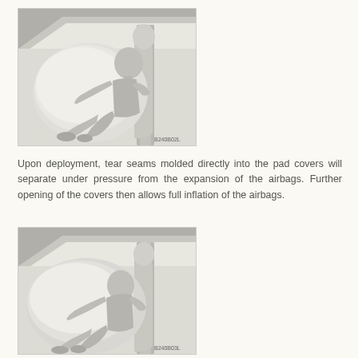[Figure (illustration): Diagram showing a car occupant being restrained by a deployed side airbag during a crash. The figure shows a gray silhouette of a seated person with a large inflated airbag cushion between them and the door/pillar. Image ID: B240B02L]
Upon deployment, tear seams molded directly into the pad covers will separate under pressure from the expansion of the airbags. Further opening of the covers then allows full inflation of the airbags.
[Figure (illustration): Second diagram showing a car occupant being restrained by a deployed side airbag during a crash, from a slightly different angle. The figure shows a gray silhouette of a seated person with a large inflated airbag cushion, with the occupant leaning further into the bag. Image ID: B240B03L]